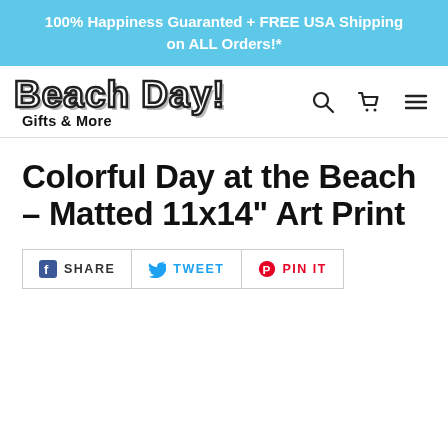100% Happiness Guaranted + FREE USA Shipping on ALL Orders!*
[Figure (logo): Beach Day! Gifts & More logo with outlined bubble-style text]
Colorful Day at the Beach – Matted 11x14" Art Print
SHARE  TWEET  PIN IT